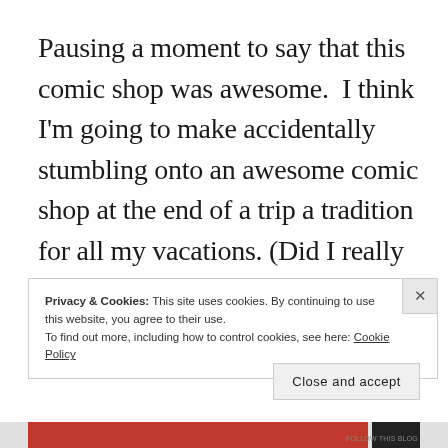Pausing a moment to say that this comic shop was awesome.  I think I'm going to make accidentally stumbling onto an awesome comic shop at the end of a trip a tradition for all my vacations. (Did I really not blog about the comic shop in Reykjavik?  Bad me.)
Privacy & Cookies: This site uses cookies. By continuing to use this website, you agree to their use.
To find out more, including how to control cookies, see here: Cookie Policy
Close and accept